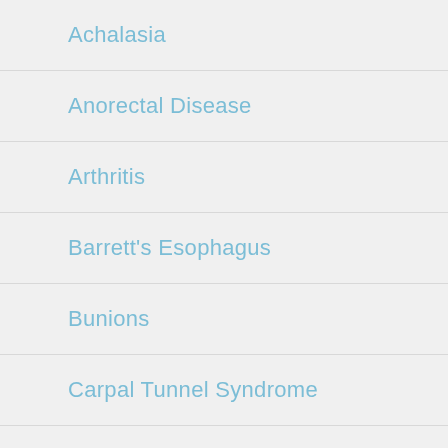Achalasia
Anorectal Disease
Arthritis
Barrett's Esophagus
Bunions
Carpal Tunnel Syndrome
Cataracts
Celiac Disease